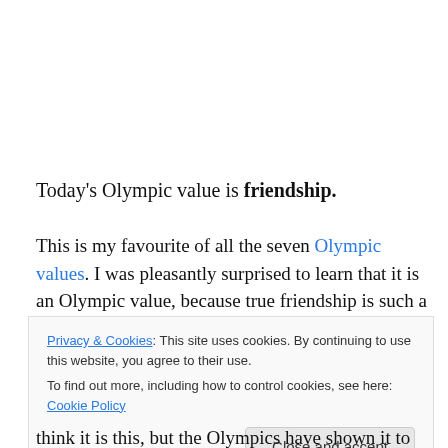Today's Olympic value is friendship.
This is my favourite of all the seven Olympic values. I was pleasantly surprised to learn that it is an Olympic value, because true friendship is such a precious thing, and
Privacy & Cookies: This site uses cookies. By continuing to use this website, you agree to their use.
To find out more, including how to control cookies, see here: Cookie Policy
think it is this, but the Olympics have shown it to go far